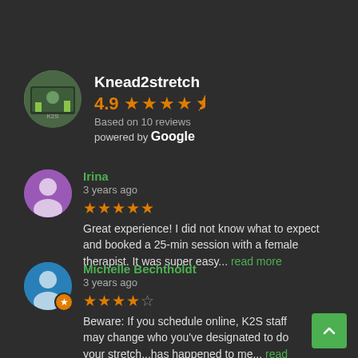[Figure (screenshot): Business profile: Knead2stretch with 4.9 star rating based on 10 Google reviews]
Knead2stretch
4.9 ★★★★★ Based on 10 reviews powered by Google
Irina
3 years ago
★★★★★ Great experience! I did not know what to expect and booked a 25-min session with a female therapist. It was super easy... read more
Michelle Bechtholdt
3 years ago
★★★★☆ Beware: If you schedule online, K2S staff may change who you've designated to do your stretch...has happened to me... read more